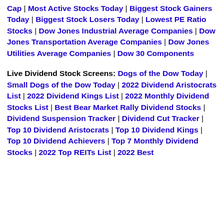Cap | Most Active Stocks Today | Biggest Stock Gainers Today | Biggest Stock Losers Today | Lowest PE Ratio Stocks | Dow Jones Industrial Average Companies | Dow Jones Transportation Average Companies | Dow Jones Utilities Average Companies | Dow 30 Components
Live Dividend Stock Screens: Dogs of the Dow Today | Small Dogs of the Dow Today | 2022 Dividend Aristocrats List | 2022 Dividend Kings List | 2022 Monthly Dividend Stocks List | Best Bear Market Rally Dividend Stocks | Dividend Suspension Tracker | Dividend Cut Tracker | Top 10 Dividend Aristocrats | Top 10 Dividend Kings | Top 10 Dividend Achievers | Top 7 Monthly Dividend Stocks | 2022 Top REITs List | 2022 Best